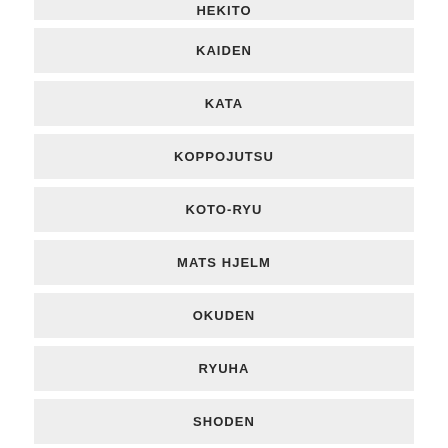HEKITO
KAIDEN
KATA
KOPPOJUTSU
KOTO-RYU
MATS HJELM
OKUDEN
RYUHA
SHODEN